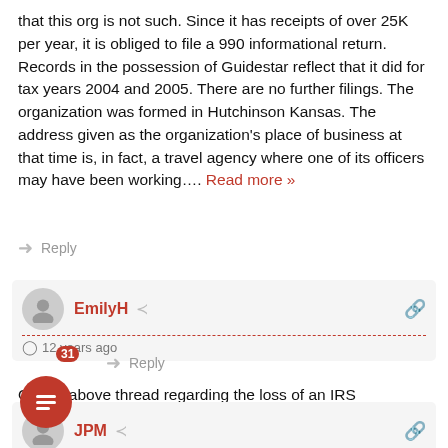that this org is not such. Since it has receipts of over 25K per year, it is obliged to file a 990 informational return. Records in the possession of Guidestar reflect that it did for tax years 2004 and 2005. There are no further filings. The organization was formed in Hutchinson Kansas. The address given as the organization's place of business at that time is, in fact, a travel agency where one of its officers may have been working…. Read more »
Reply
EmilyH  12 years ago
On the above thread regarding the loss of an IRS exemption. it is on the anniversary of the 3rd year where an organization obligated to file has neglected to file.
31 Reply
JPM